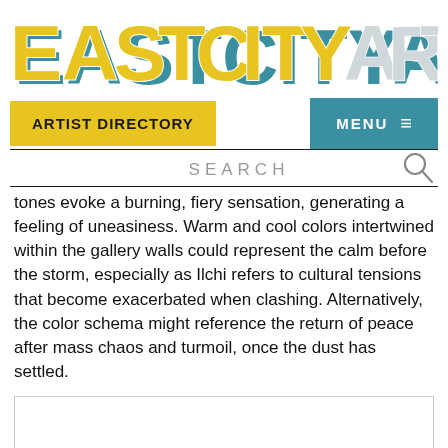[Figure (logo): EastCityArt logo in large block letters with teal/yellow color scheme and 3D shadow effect]
ARTIST DIRECTORY
MENU ≡
SEARCH
tones evoke a burning, fiery sensation, generating a feeling of uneasiness. Warm and cool colors intertwined within the gallery walls could represent the calm before the storm, especially as Ilchi refers to cultural tensions that become exacerbated when clashing. Alternatively, the color schema might reference the return of peace after mass chaos and turmoil, once the dust has settled.
[Figure (other): White/blank image placeholder at bottom of page]